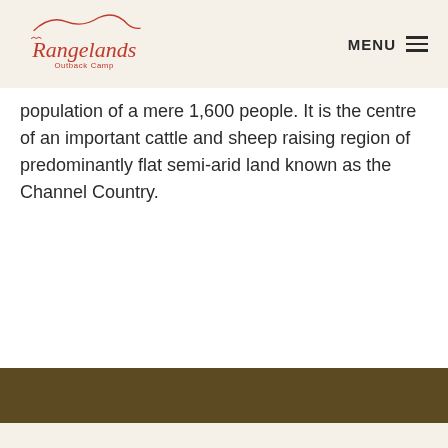Rangelands Outback Camp | MENU
population of a mere 1,600 people. It is the centre of an important cattle and sheep raising region of predominantly flat semi-arid land known as the Channel Country.